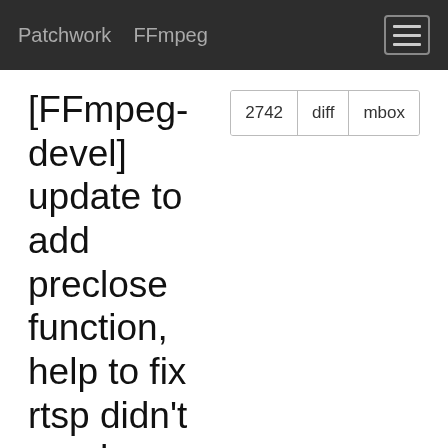Patchwork  FFmpeg
[FFmpeg-devel] update to add preclose function, help to fix rtsp didn't send teardown after ffplay close stream
| Message ID | 1488418932-26817-1-git-send-email-vincent860602@gmail.com |
| State | Rejected |
| Headers | show |
Commit Message